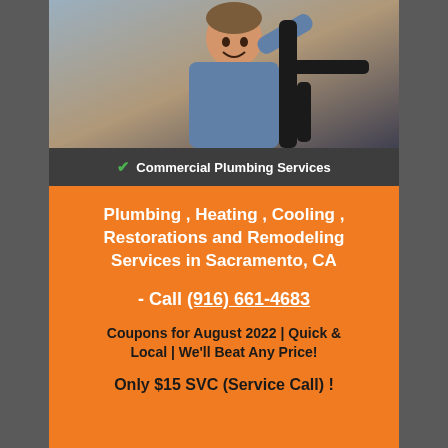[Figure (photo): Smiling plumber working under a sink with pipes visible]
✓ Commercial Plumbing Services
Plumbing , Heating , Cooling , Restorations and Remodeling Services in Sacramento, CA
- Call (916) 661-4683
Coupons for August 2022 | Quick & Local | We'll Beat Any Price!
Only $15 SVC (Service Call) !